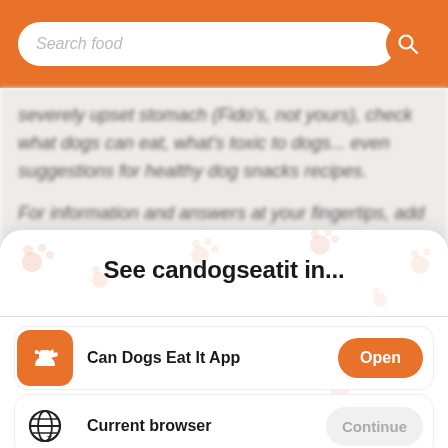[Figure (screenshot): Orange search bar at the top of a mobile app with a search input field labeled 'Search food' and an orange search icon button]
severely upset stomach (Fido's, not yours), check what dogs can eat, what's toxic to dogs... even suggestions for healthy dog snacks recipes.
For information and answers at your fingertips, add the app onto your mobile home screen. Wherever you
See candogseatit in...
Can Dogs Eat It App
Current browser